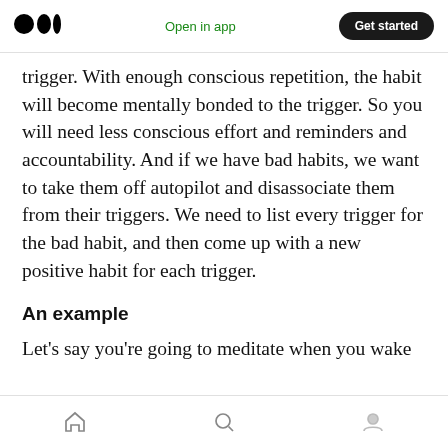Medium logo | Open in app | Get started
trigger. With enough conscious repetition, the habit will become mentally bonded to the trigger. So you will need less conscious effort and reminders and accountability. And if we have bad habits, we want to take them off autopilot and disassociate them from their triggers. We need to list every trigger for the bad habit, and then come up with a new positive habit for each trigger.
An example
Let's say you're going to meditate when you wake
Home | Search | Profile